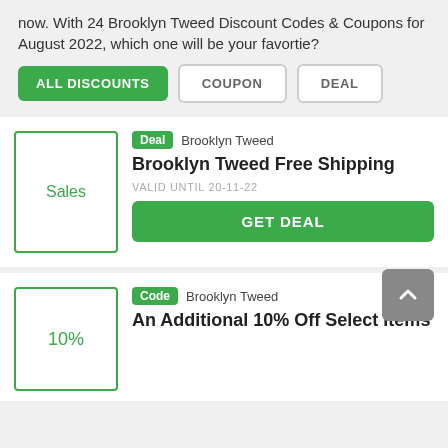now. With 24 Brooklyn Tweed Discount Codes & Coupons for August 2022, which one will be your favortie?
ALL DISCOUNTS
COUPON
DEAL
[Figure (other): Deal card: Sales image box with green border. Badge: Deal. Brand: Brooklyn Tweed. Title: Brooklyn Tweed Free Shipping. Valid until: 20-11-22. Button: GET DEAL.]
[Figure (other): Deal card: 10% image box with green border. Badge: Code. Brand: Brooklyn Tweed. Title: An Additional 10% Off Select Items.]